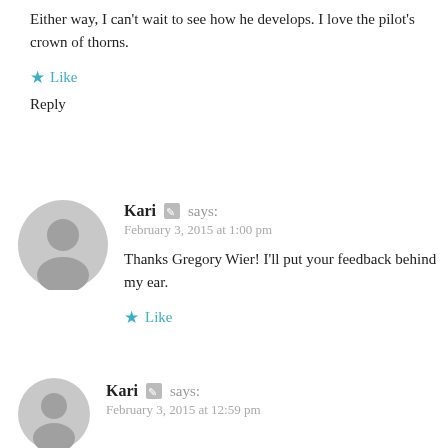Either way, I can't wait to see how he develops. I love the pilot's crown of thorns.
★ Like
Reply
Kari 🖊 says:
February 3, 2015 at 1:00 pm
Thanks Gregory Wier! I'll put your feedback behind my ear.
★ Like
Kari 🖊 says:
February 3, 2015 at 12:59 pm